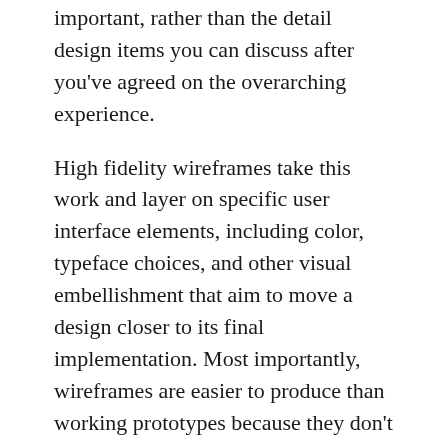important, rather than the detail design items you can discuss after you've agreed on the overarching experience.
High fidelity wireframes take this work and layer on specific user interface elements, including color, typeface choices, and other visual embellishment that aim to move a design closer to its final implementation. Most importantly, wireframes are easier to produce than working prototypes because they don't require engineering support. Even browser-based HTML prototypes can be made without software development expertise.
How this can apply in government: